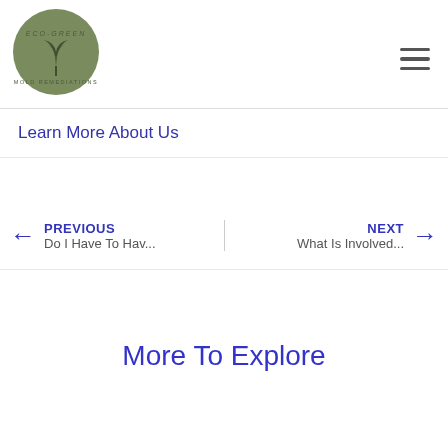[Figure (logo): Eco-Green Mold Remediations circular logo with leaf/plant icon on olive green background]
Learn More About Us
← PREVIOUS
Do I Have To Hav...
NEXT →
What Is Involved...
More To Explore